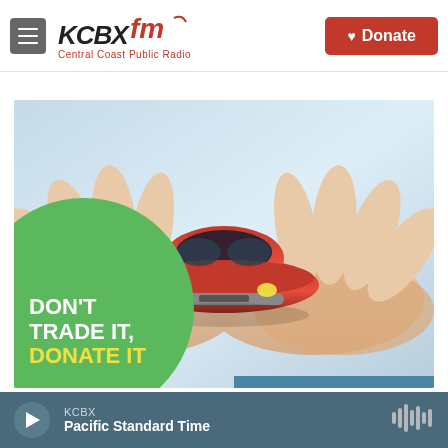[Figure (logo): KCBX FM Central Coast Public Radio logo with hamburger menu icon and red Donate button]
[Figure (photo): Two hands cupping a red toy car from below, blue/white background, with green circle overlay text: DON'T TRADE IT, DONATE IT]
KCBX Pacific Standard Time